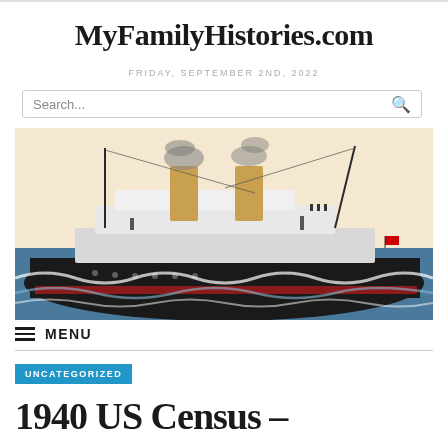MyFamilyHistories.com
FRIDAY, SEPTEMBER 2ND, 2022
[Figure (photo): Vintage illustration of a large ocean liner / steamship with two smoky funnels sailing through choppy seas, depicted in a classic postcard painting style with warm tones.]
MENU
UNCATEGORIZED
1940 US Census –